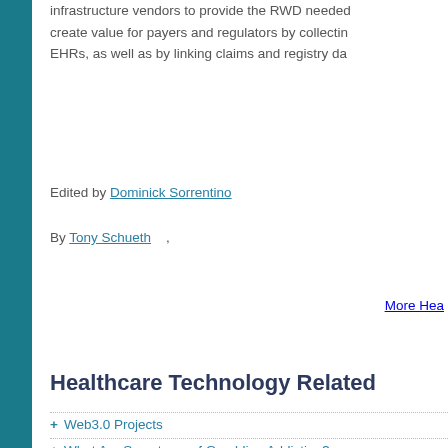infrastructure vendors to provide the RWD needed create value for payers and regulators by collecting EHRs, as well as by linking claims and registry da
Edited by Dominick Sorrentino
By Tony Schueth ,
More Hea
Healthcare Technology Related
+ Web3.0 Projects
+ What Are Symptoms of Gambling Addiction?